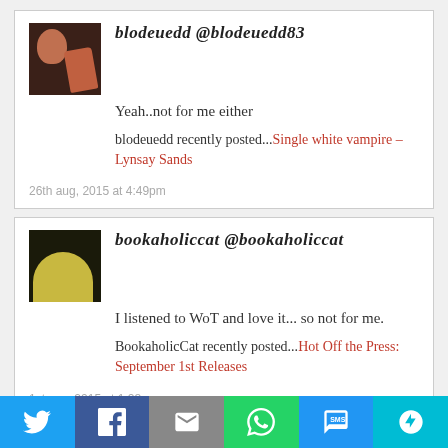blodeuedd @blodeuedd83
Yeah..not for me either
blodeuedd recently posted...Single white vampire – Lynsay Sands
26th aug, 2015 at 4:49pm
bookaholiccat @bookaholiccat
I listened to WoT and love it... so not for me.
BookaholicCat recently posted...Hot Off the Press: September 1st Releases
1st sep, 2015 at 1:28pm